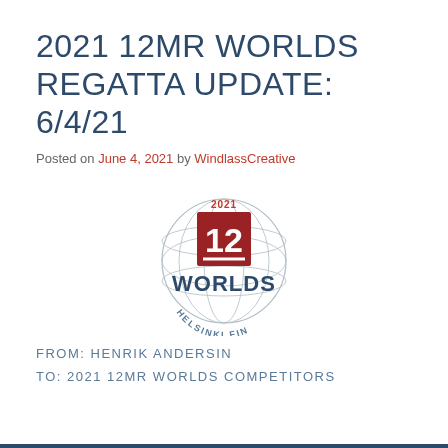2021 12MR WORLDS REGATTA UPDATE: 6/4/21
Posted on June 4, 2021 by WindlassCreative
[Figure (logo): 2021 12 Worlds Helsinki FIN logo — a globe with latitude/longitude grid lines, a dark red square containing the number 12 with an underline, text '2021' above the square, 'WORLDS' in bold dark blue below the square, and 'HELSINKI FIN' curved along the bottom of the globe.]
FROM: HENRIK ANDERSIN
TO: 2021 12MR WORLDS COMPETITORS